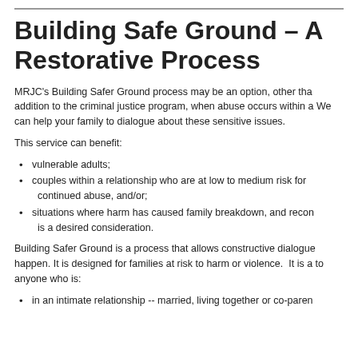Building Safe Ground – A Restorative Process
MRJC's Building Safer Ground process may be an option, other than or in addition to the criminal justice program, when abuse occurs within a family. We can help your family to dialogue about these sensitive issues.
This service can benefit:
vulnerable adults;
couples within a relationship who are at low to medium risk for continued abuse, and/or;
situations where harm has caused family breakdown, and reconciliation is a desired consideration.
Building Safer Ground is a process that allows constructive dialogue to happen. It is designed for families at risk to harm or violence. It is available to anyone who is:
in an intimate relationship -- married, living together or co-parenting;